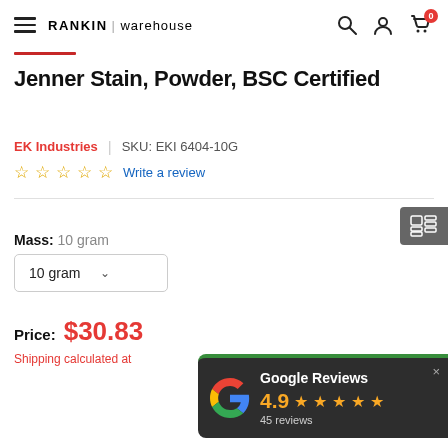RANKIN warehouse
Jenner Stain, Powder, BSC Certified
EK Industries | SKU: EKI 6404-10G
☆☆☆☆☆ Write a review
Mass: 10 gram
10 gram (dropdown)
Price: $30.83
Shipping calculated at
[Figure (other): Google Reviews popup with 4.9 rating and 45 reviews]